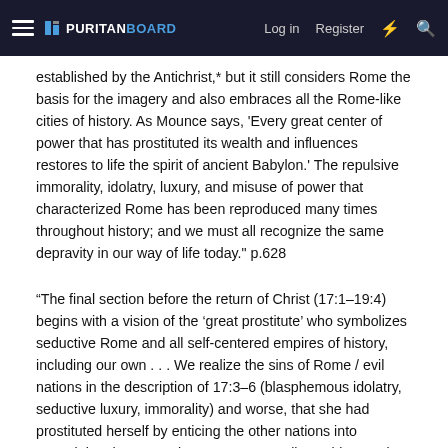PURITANBOARD — Log in  Register
established by the Antichrist,* but it still considers Rome the basis for the imagery and also embraces all the Rome-like cities of history. As Mounce says, 'Every great center of power that has prostituted its wealth and influences restores to life the spirit of ancient Babylon.' The repulsive immorality, idolatry, luxury, and misuse of power that characterized Rome has been reproduced many times throughout history; and we must all recognize the same depravity in our way of life today." p.628
“The final section before the return of Christ (17:1–19:4) begins with a vision of the ‘great prostitute’ who symbolizes seductive Rome and all self-centered empires of history, including our own . . . We realize the sins of Rome / evil nations in the description of 17:3–6 (blasphemous idolatry, seductive luxury, immorality) and worse, that she had prostituted herself by enticing the other nations into committing the same sins . . . We must all consider 17:4b, where we are told that such things (and materialism is the main theme of texts) are but the outfit to Babylon’s...